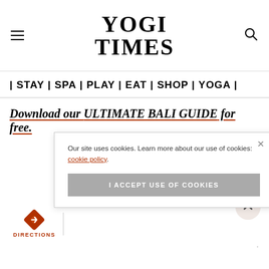[Figure (logo): Yogi Times logo in bold serif font, two lines: YOGI / TIMES]
| STAY | SPA | PLAY | EAT | SHOP | YOGA |
Download our ULTIMATE BALI GUIDE for free.
Our site uses cookies. Learn more about our use of cookies: cookie policy
I ACCEPT USE OF COOKIES
[Figure (illustration): Directions navigation icon (orange diamond with arrow) with DIRECTIONS label and vertical separator]
[Figure (other): Scroll-up chevron button, light pink circle]